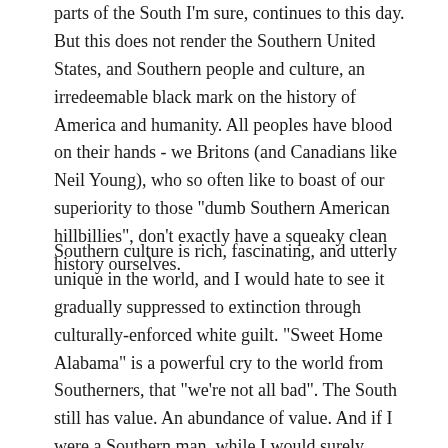parts of the South I'm sure, continues to this day. But this does not render the Southern United States, and Southern people and culture, an irredeemable black mark on the history of America and humanity. All peoples have blood on their hands - we Britons (and Canadians like Neil Young), who so often like to boast of our superiority to those "dumb Southern American hillbillies", don't exactly have a squeaky clean history ourselves.
Southern culture is rich, fascinating, and utterly unique in the world, and I would hate to see it gradually suppressed to extinction through culturally-enforced white guilt. "Sweet Home Alabama" is a powerful cry to the world from Southerners, that "we're not all bad". The South still has value. An abundance of value. And if I were a Southern man, while I would surely mourn and remember the evils of the past as any moral human surely should, and try to extinguish